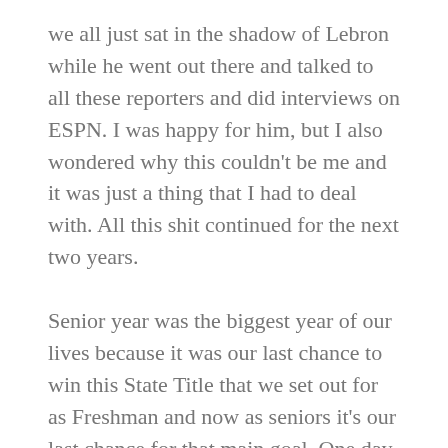we all just sat in the shadow of Lebron while he went out there and talked to all these reporters and did interviews on ESPN. I was happy for him, but I also wondered why this couldn't be me and it was just a thing that I had to deal with. All this shit continued for the next two years.
Senior year was the biggest year of our lives because it was our last chance to win this State Title that we set out for as Freshman and now as seniors it's our last chance for that main goal. One day I was just scrolling around on the internet and I